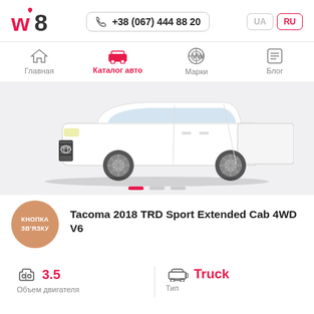w8  +38 (067) 444 88 20  UA  RU
Главная  Каталог авто  Марки  Блог
[Figure (photo): White Toyota Tacoma 2018 TRD Sport Extended Cab 4WD pickup truck photographed from the front-left angle on a white background]
Tacoma 2018 TRD Sport Extended Cab 4WD V6
КНОПКА ЗВ'ЯЗКУ
3.5  Объем двигателя
Truck  Тип